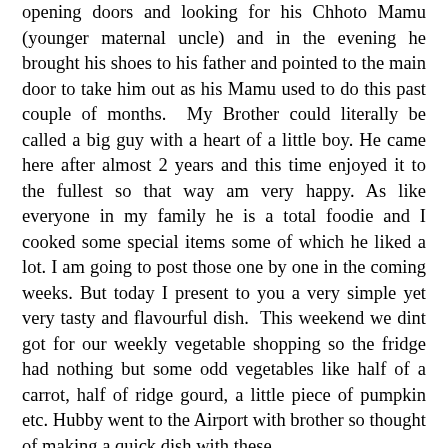opening doors and looking for his Chhoto Mamu (younger maternal uncle) and in the evening he brought his shoes to his father and pointed to the main door to take him out as his Mamu used to do this past couple of months.  My Brother could literally be called a big guy with a heart of a little boy. He came here after almost 2 years and this time enjoyed it to the fullest so that way am very happy. As like everyone in my family he is a total foodie and I cooked some special items some of which he liked a lot. I am going to post those one by one in the coming weeks. But today I present to you a very simple yet very tasty and flavourful dish.  This weekend we dint got for our weekly vegetable shopping so the fridge had nothing but some odd vegetables like half of a carrot, half of ridge gourd, a little piece of pumpkin etc. Hubby went to the Airport with brother so thought of making a quick dish with these.

Paanch in Bengali means five and misheli means medley or mixture so Panchmisheli tarkari means a dish cooked with five vegetables. Though no one actually will stop you if you want to make it with more vegetable, even I always cook it with 7-8 veggies. Like my last post this one is also a